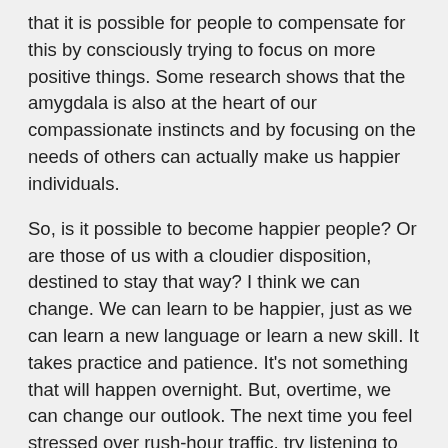that it is possible for people to compensate for this by consciously trying to focus on more positive things. Some research shows that the amygdala is also at the heart of our compassionate instincts and by focusing on the needs of others can actually make us happier individuals.
So, is it possible to become happier people? Or are those of us with a cloudier disposition, destined to stay that way? I think we can change. We can learn to be happier, just as we can learn a new language or learn a new skill. It takes practice and patience. It's not something that will happen overnight. But, overtime, we can change our outlook. The next time you feel stressed over rush-hour traffic, try listening to calming or soothing music. Or when you find yourself standing in an endless check-out line at the grocery, focus on your weekend plans, or mentally plan a romantic dinner for your partner; anthing positive that will take your mind off the negative and place it on something positive. Watch how time, and stress, disappear! Brains, it seem, love patterns so if we give it lots of